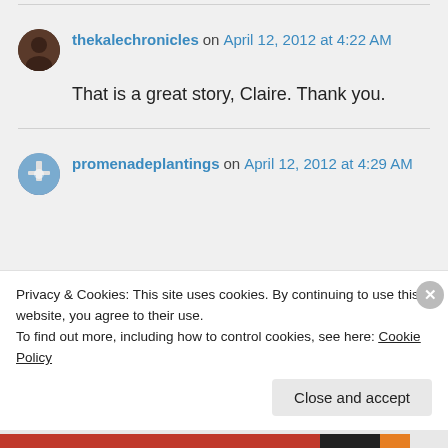thekalechronicles on April 12, 2012 at 4:22 AM
That is a great story, Claire. Thank you.
promenadeplantings on April 12, 2012 at 4:29 AM
Privacy & Cookies: This site uses cookies. By continuing to use this website, you agree to their use. To find out more, including how to control cookies, see here: Cookie Policy